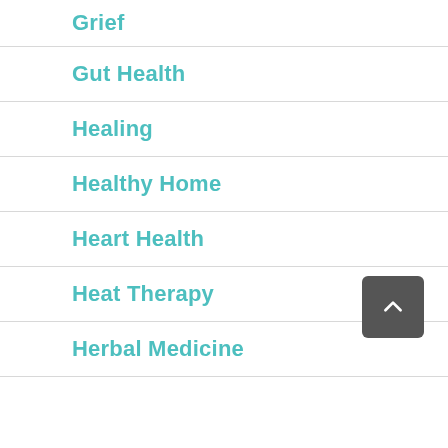Grief
Gut Health
Healing
Healthy Home
Heart Health
Heat Therapy
Herbal Medicine